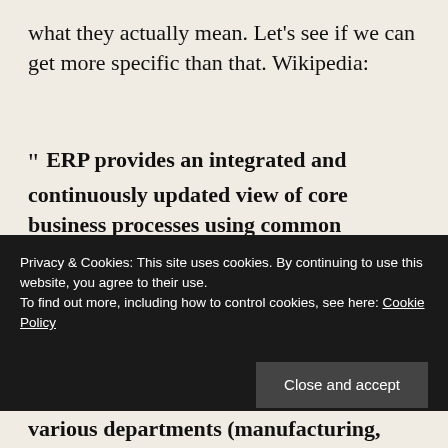what they actually mean. Let's see if we can get more specific than that. Wikipedia:
" ERP provides an integrated and continuously updated view of core business processes using common databases maintained by a database management system. ERP systems track business resources—cash, raw materials,
Privacy & Cookies: This site uses cookies. By continuing to use this website, you agree to their use.
To find out more, including how to control cookies, see here: Cookie Policy
various departments (manufacturing,